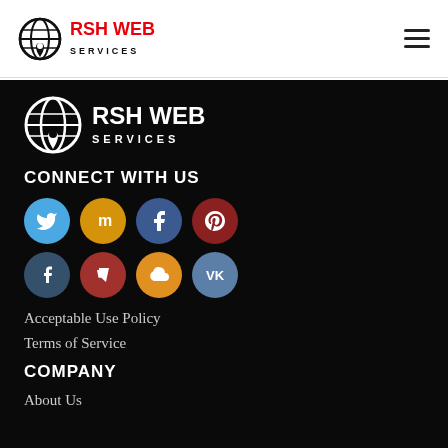RSH WEB SERVICES
[Figure (logo): RSH Web Services logo on dark background]
CONNECT WITH US
[Figure (infographic): Social media icons: Twitter, Mixcloud, Facebook, Pinterest, Tumblr, Foursquare, Cloud, VK]
Acceptable Use Policy
Terms of Service
COMPANY
About Us